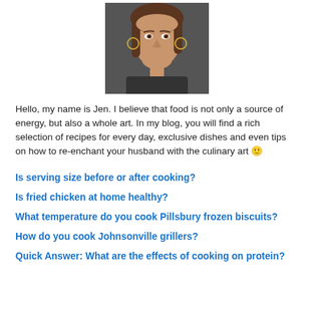[Figure (photo): Portrait photo of a woman with brown hair, wearing hoop earrings, looking thoughtful with hand near chin]
Hello, my name is Jen. I believe that food is not only a source of energy, but also a whole art. In my blog, you will find a rich selection of recipes for every day, exclusive dishes and even tips on how to re-enchant your husband with the culinary art 🙂
Is serving size before or after cooking?
Is fried chicken at home healthy?
What temperature do you cook Pillsbury frozen biscuits?
How do you cook Johnsonville grillers?
Quick Answer: What are the effects of cooking on protein?